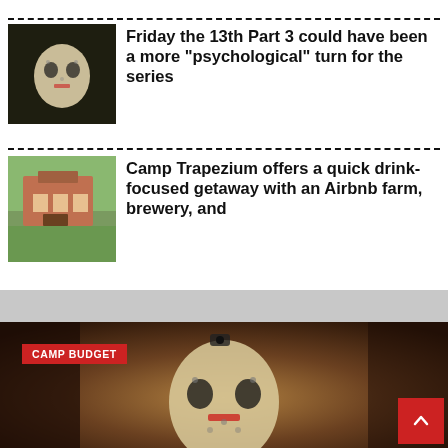[Figure (photo): Partial image at top, appears to be a sports/outdoor scene, cropped]
[Figure (photo): Jason Voorhees hockey mask character from Friday the 13th]
Friday the 13th Part 3 could have been a more “psychological” turn for the series
[Figure (photo): Aerial or exterior view of a farm house with green fields]
Camp Trapezium offers a quick drink-focused getaway with an Airbnb farm, brewery, and
[Figure (photo): Close-up of Jason Voorhees hockey mask with dark rustic background]
CAMP BUDGET